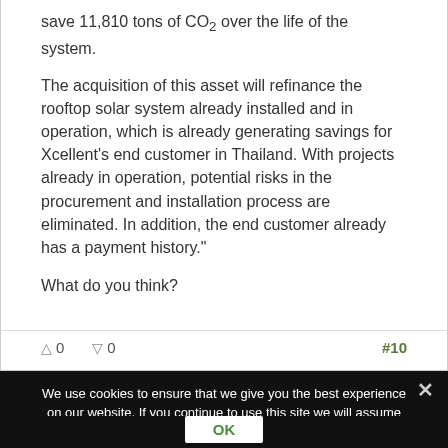save 11,810 tons of CO2 over the life of the system.
The acquisition of this asset will refinance the rooftop solar system already installed and in operation, which is already generating savings for Xcellent's end customer in Thailand. With projects already in operation, potential risks in the procurement and installation process are eliminated. In addition, the end customer already has a payment history."
What do you think?
0  0  #10
We use cookies to ensure that we give you the best experience on our website. If you continue to use this site we will assume that you are happy with it.
OK